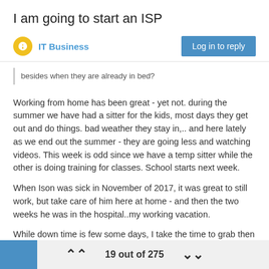I am going to start an ISP
IT Business
besides when they are already in bed?
Working from home has been great - yet not. during the summer we have had a sitter for the kids, most days they get out and do things. bad weather they stay in,.. and here lately as we end out the summer - they are going less and watching videos. This week is odd since we have a temp sitter while the other is doing training for classes. School starts next week.
When Ison was sick in November of 2017, it was great to still work, but take care of him here at home - and then the two weeks he was in the hospital..my working vacation.
While down time is few some days, I take the time to grab then and hug them, fix them lunch, tickle them and talk to them... so it's been a win.
19 out of 275